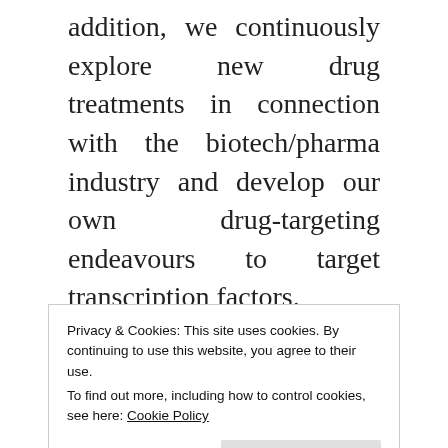addition, we continuously explore new drug treatments in connection with the biotech/pharma industry and develop our own drug-targeting endeavours to target transcription factors.

We are a big international team and we are a part of the Green Labs Austria to contribute to more sustainable and
Privacy & Cookies: This site uses cookies. By continuing to use this website, you agree to their use.
To find out more, including how to control cookies, see here: Cookie Policy
Close and accept
Monggi Group